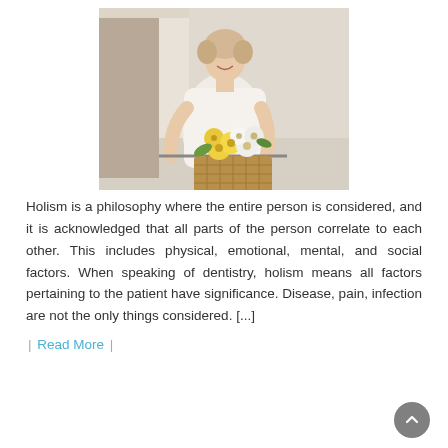[Figure (photo): Woman in white off-shoulder top smiling, holding bicycle handlebar with wicker basket full of yellow and white flowers, outdoor setting]
Holism is a philosophy where the entire person is considered, and it is acknowledged that all parts of the person correlate to each other. This includes physical, emotional, mental, and social factors. When speaking of dentistry, holism means all factors pertaining to the patient have significance. Disease, pain, infection are not the only things considered. [...]
| Read More |